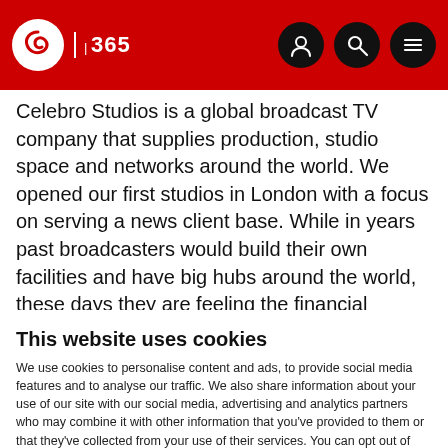IBC 365
Celebro Studios is a global broadcast TV company that supplies production, studio space and networks around the world. We opened our first studios in London with a focus on serving a news client base. While in years past broadcasters would build their own facilities and have big hubs around the world, these days they are feeling the financial squeeze like everyone else, and justification to
This website uses cookies
We use cookies to personalise content and ads, to provide social media features and to analyse our traffic. We also share information about your use of our site with our social media, advertising and analytics partners who may combine it with other information that you've provided to them or that they've collected from your use of their services. You can opt out of certain types of cookies below before proceeding to the website.
Use necessary cookies only
Allow all cookies
Show details